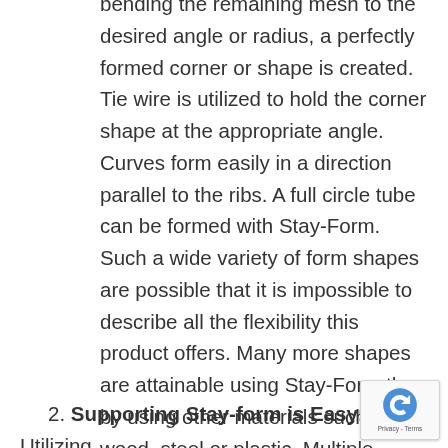bending the remaining mesh to the desired angle or radius, a perfectly formed corner or shape is created. Tie wire is utilized to hold the corner shape at the appropriate angle. Curves form easily in a direction parallel to the ribs. A full circle tube can be formed with Stay-Form. Such a wide variety of form shapes are possible that it is impossible to describe all the flexibility this product offers. Many more shapes are attainable using Stay-Form than by using other materials such as wood, steel or plastic. Multiple sections of Stay-Form can be joined end to end with a 3-inch to 4-inch lap. End laps should always be braced with a support. To accomplish a side lap, overlap one or two ribs.
2. Supporting Stay-form is Easy: Utilizing